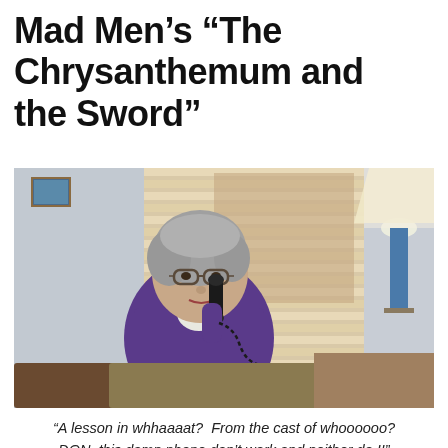Mad Men's “The Chrysanthemum and the Sword”
[Figure (photo): An elderly woman with gray hair and glasses holds a vintage black telephone handset to her ear. She is wearing a purple cardigan. In the background are window blinds, city buildings, and a blue lamp. The scene is from the TV show Mad Men.]
“A lesson in whhaaaat?  From the cast of whoooooo?  DON, this damn phone don’t work and neither do I!”